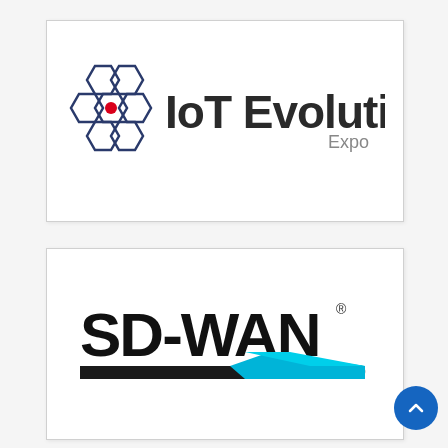[Figure (logo): IoT Evolution Expo logo: hexagonal grid icon with a red center dot on the left, followed by bold dark text 'IoT Evolution.' with 'Expo' in smaller gray text below the period]
[Figure (logo): SD-WAN Expo logo: bold black text 'SD-WAN' with a registered trademark symbol, a cyan/blue diagonal stripe design beneath, and 'EXPO' in smaller text to the right]